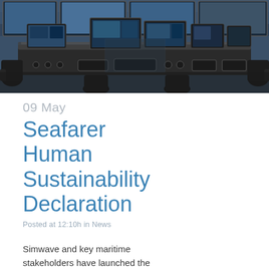[Figure (photo): Interior photo of a modern ship bridge/navigation control room with multiple screens, monitors, and navigation equipment arranged on a curved console, with dark leather chairs visible]
09 May
Seafarer Human Sustainability Declaration
Posted at 12:10h in News
Simwave and key maritime stakeholders have launched the